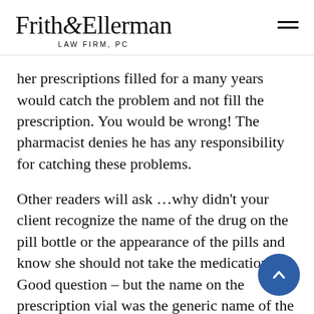Frith&Ellerman LAW FIRM, PC
her prescriptions filled for a many years would catch the problem and not fill the prescription. You would be wrong! The pharmacist denies he has any responsibility for catching these problems.
Other readers will ask …why didn't your client recognize the name of the drug on the pill bottle or the appearance of the pills and know she should not take the medication. Good question – but the name on the prescription vial was the generic name of the drug which